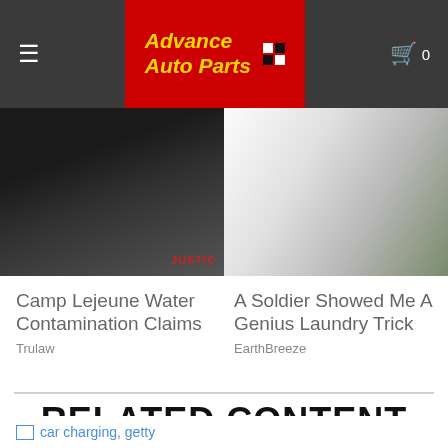[Figure (logo): Advance Auto Parts logo with red background, yellow italic text and checkered flag]
[Figure (photo): Dark leather or car interior surface close-up with circular element, labeled JUSTIC at bottom right]
[Figure (photo): White washing machines in a laundromat with a person in military camouflage uniform]
Camp Lejeune Water Contamination Claims
Trulaw
A Soldier Showed Me A Genius Laundry Trick
EarthBreeze
RELATED CONTENT
[Figure (photo): Broken image placeholder: car charging, getty]